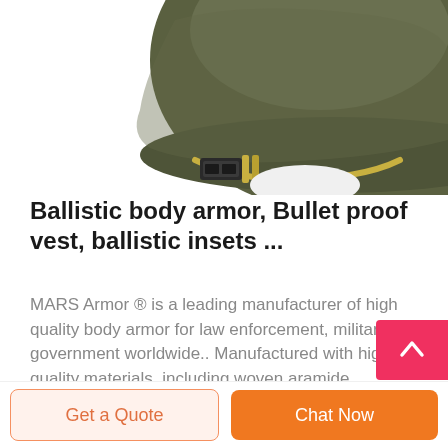[Figure (photo): Military/tactical ballistic helmet in olive green/dark green color with chin strap hardware visible, shown against white background, cropped showing top portion]
Ballistic body armor, Bullet proof vest, ballistic insets ...
MARS Armor ® is a leading manufacturer of high quality body armor for law enforcement, military and government worldwide.. Manufactured with high quality materials, including woven aramide, unidirectional high performance polyethylene and hybrids, the bulletproof vests made by MARS Armor® obtain minimum weight and offer high protection and can be worn comfortably under a shirt or jacket or ...